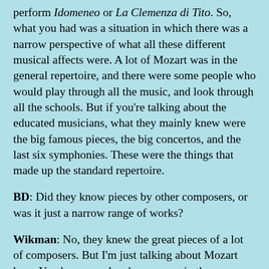perform Idomeneo or La Clemenza di Tito. So, what you had was a situation in which there was a narrow perspective of what all these different musical affects were. A lot of Mozart was in the general repertoire, and there were some people who would play through all the music, and look through all the schools. But if you're talking about the educated musicians, what they mainly knew were the big famous pieces, the big concertos, and the last six symphonies. These were the things that made up the standard repertoire.
BD: Did they know pieces by other composers, or was it just a narrow range of works?
Wikman: No, they knew the great pieces of a lot of composers. But I'm just talking about Mozart here. You have people who grew up in these traditions, and a lot of people were convinced that the tempo of any minuet was the tempo of the minuet in Don Giovanni. So, you hear all kinds of minuets performed at that tempo even by famous conductors who were considered